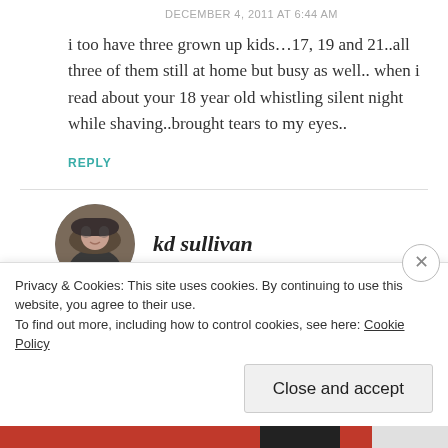DECEMBER 4, 2011 AT 6:44 AM
i too have three grown up kids…17, 19 and 21..all three of them still at home but busy as well.. when i read about your 18 year old whistling silent night while shaving..brought tears to my eyes..
REPLY
kd sullivan
Privacy & Cookies: This site uses cookies. By continuing to use this website, you agree to their use.
To find out more, including how to control cookies, see here: Cookie Policy
Close and accept